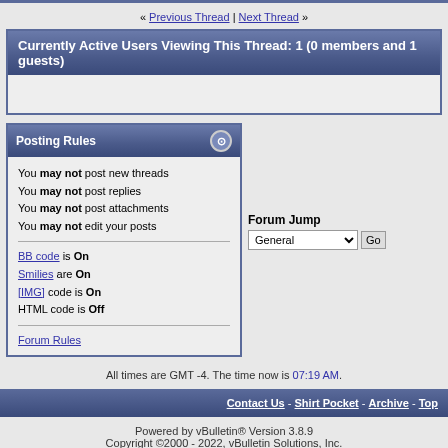« Previous Thread | Next Thread »
Currently Active Users Viewing This Thread: 1 (0 members and 1 guests)
Posting Rules
You may not post new threads
You may not post replies
You may not post attachments
You may not edit your posts
BB code is On
Smilies are On
[IMG] code is On
HTML code is Off
Forum Rules
Forum Jump — General
All times are GMT -4. The time now is 07:19 AM.
Contact Us - Shirt Pocket - Archive - Top
Powered by vBulletin® Version 3.8.9 Copyright ©2000 - 2022, vBulletin Solutions, Inc.